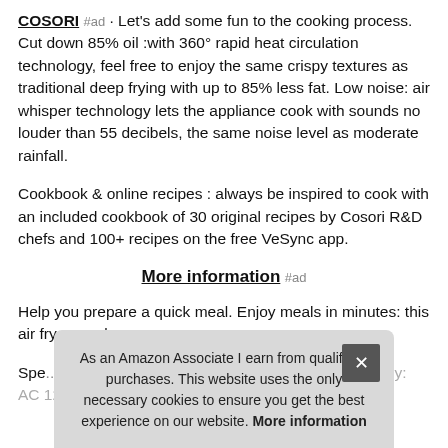COSORI #ad · Let's add some fun to the cooking process. Cut down 85% oil :with 360° rapid heat circulation technology, feel free to enjoy the same crispy textures as traditional deep frying with up to 85% less fat. Low noise: air whisper technology lets the appliance cook with sounds no louder than 55 decibels, the same noise level as moderate rainfall.
Cookbook & online recipes : always be inspired to cook with an included cookbook of 30 original recipes by Cosori R&D chefs and 100+ recipes on the free VeSync app.
More information #ad
Help you prepare a quick meal. Enjoy meals in minutes: this air fryer ... mak...
Spe... and Canada. Rated power: 1550W. Power supply: AC 120V...
As an Amazon Associate I earn from qualifying purchases. This website uses the only necessary cookies to ensure you get the best experience on our website. More information